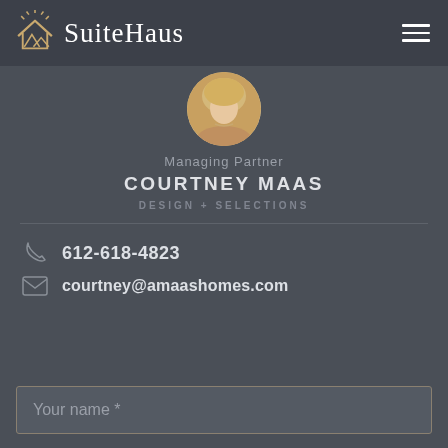SuiteHaus
[Figure (photo): Circular cropped photo of Courtney Maas, a woman with blonde hair]
Managing Partner
COURTNEY MAAS
DESIGN + SELECTIONS
612-618-4823
courtney@amaashomes.com
Your name *